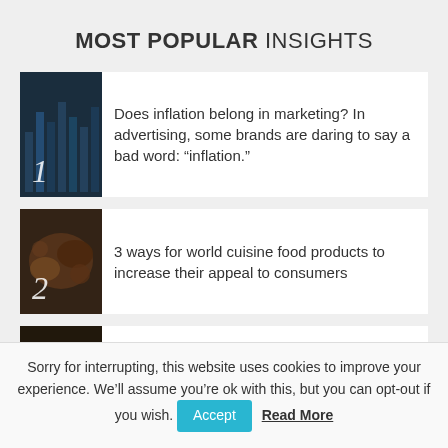MOST POPULAR INSIGHTS
Does inflation belong in marketing? In advertising, some brands are daring to say a bad word: “inflation.”
3 ways for world cuisine food products to increase their appeal to consumers
Brewing innovations in APAC’s beer industry
Sorry for interrupting, this website uses cookies to improve your experience. We’ll assume you’re ok with this, but you can opt-out if you wish. Accept Read More